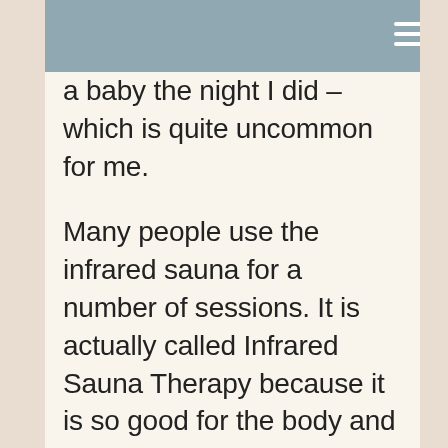a baby the night I did – which is quite uncommon for me.
Many people use the infrared sauna for a number of sessions. It is actually called Infrared Sauna Therapy because it is so good for the body and for recovery and healing. However, I just really needed to get some warmth and relax. All the added benefits are bonuses.